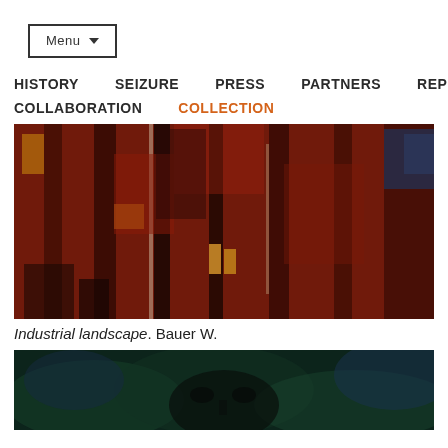Menu
HISTORY  SEIZURE  PRESS  PARTNERS  REPORTS
COLLABORATION  COLLECTION
[Figure (photo): Abstract oil painting showing an industrial landscape with dark red, brown and black tones, textured brushwork depicting industrial buildings and structures.]
Industrial landscape. Bauer W.
[Figure (photo): Abstract expressionist painting showing a face or figure with swirling blue-green tones and dark eyes, painted in an impasto style.]